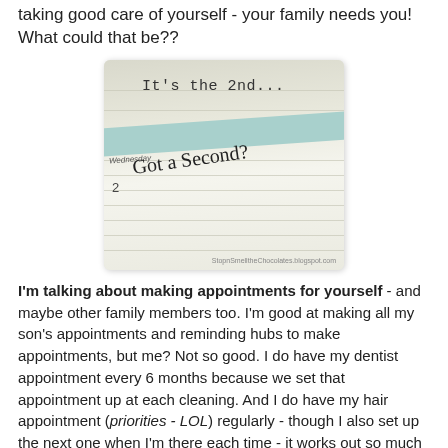taking good care of yourself - your family needs you! What could that be??
[Figure (photo): A photo of a planner/calendar open to Wednesday the 2nd. Handwritten text reads 'It's the 2nd...' and 'Got a Second?' across the lined pages. A teal/blue tab or divider is visible. Watermark reads 'StopnSmelltheChocolates.blogspot.com'.]
I'm talking about making appointments for yourself - and maybe other family members too. I'm good at making all my son's appointments and reminding hubs to make appointments, but me? Not so good. I do have my dentist appointment every 6 months because we set that appointment up at each cleaning. And I do have my hair appointment (priorities - LOL) regularly - though I also set up the next one when I'm there each time - it works out so much